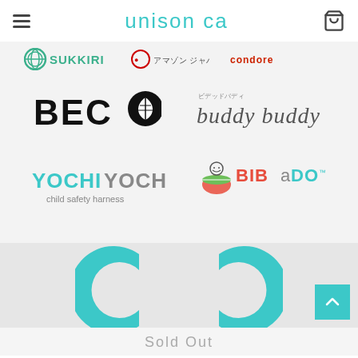unison ca
[Figure (logo): SUKKIRI logo (teal/green circle with Japanese text), Amazon Japan logo, and Condore logo in a partial row]
[Figure (logo): BECO logo (bold black text with leaf icon in circle) and buddy buddy logo (lowercase gray italic text)]
[Figure (logo): YOCHIYOCHI child safety harness logo (teal text) and BIBaDO logo (red/green text with watermelon icon)]
[Figure (logo): Large teal C-shaped logo (unison ca brand mark) partially visible at bottom]
Sold Out